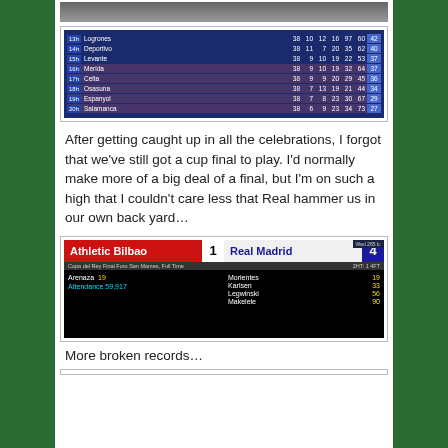[Figure (screenshot): League table screenshot showing positions 13th-20th including Logrones, Deportivo, Levante, Merida, Celta, Osasuna, Espanyol, Salamanca with columns for matches played, wins, draws, losses, goals for, goals against, and points]
After getting caught up in all the celebrations, I forgot that we've still got a cup final to play. I'd normally make more of a big deal of a final, but I'm on such a high that I couldn't care less that Real hammer us in our own back yard…
[Figure (screenshot): Match result screenshot: Athletic Bilbao 1 - Real Madrid 4. Copa del Rey Final Foro San Mames, Full Time. Scorers: Arenaza 19 (home), Morientes 19, Karlsen 33, Legwinski 56, Makelele 90 (away). Attendance 59,917.]
More broken records…